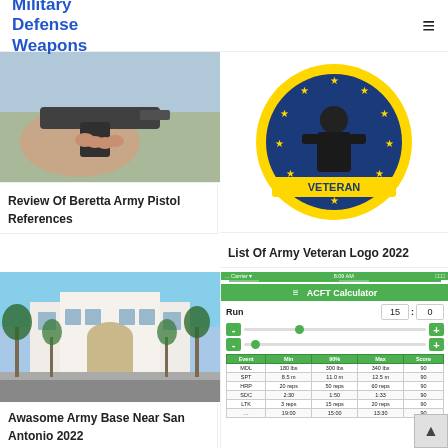Military Defense Weapons
[Figure (photo): Photo of a hand holding a Beretta pistol]
Review Of Beretta Army Pistol References
[Figure (illustration): Circular Army Veteran logo with stars and soldier silhouette]
List Of Army Veteran Logo 2022
[Figure (photo): Photo of a large white building with palm trees - Army base near San Antonio]
Awasome Army Base Near San Antonio 2022
[Figure (screenshot): ACFT Calculator app screenshot showing Run field with time 15:0, sliders, and a results table with columns Event, Min, 90%, Max, Score showing rows for MDL, SPT, HRP, SDC, LTK and more]